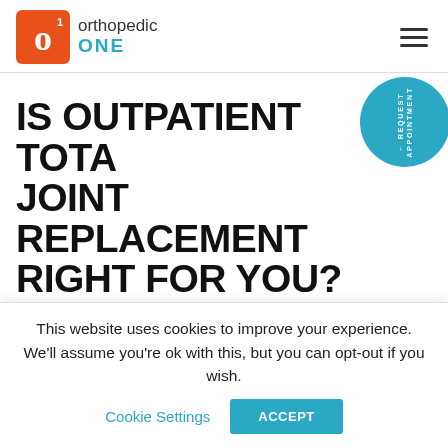Orthopedic ONE
IS OUTPATIENT TOTAL JOINT REPLACEMENT RIGHT FOR YOU?
Imagine undergoing a total joint replacement of
This website uses cookies to improve your experience. We'll assume you're ok with this, but you can opt-out if you wish.
Cookie Settings | ACCEPT